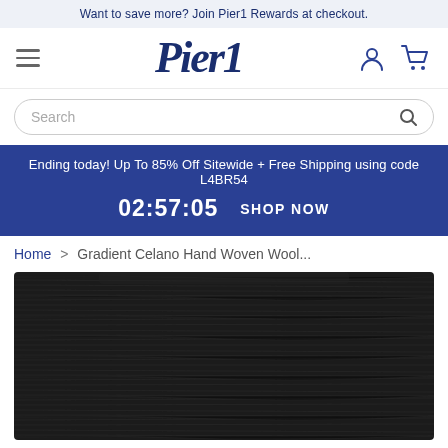Want to save more? Join Pier1 Rewards at checkout.
[Figure (logo): Pier1 logo in bold dark navy italic serif font, hamburger menu icon on left, user account and cart icons on right]
Search
Ending today! Up To 85% Off Sitewide + Free Shipping using code L4BR54
02:57:05  SHOP NOW
Home > Gradient Celano Hand Woven Wool...
[Figure (photo): Close-up photo of a dark charcoal/black hand woven wool rug with textured woven pattern]